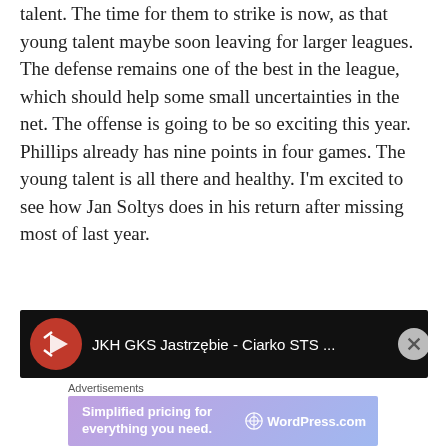talent. The time for them to strike is now, as that young talent maybe soon leaving for larger leagues. The defense remains one of the best in the league, which should help some small uncertainties in the net. The offense is going to be so exciting this year. Phillips already has nine points in four games. The young talent is all there and healthy. I'm excited to see how Jan Soltys does in his return after missing most of last year.
[Figure (screenshot): Video thumbnail/bar showing JKH GKS Jastrzębie - Ciarko STS ... with red circular icon and three-dot menu]
Advertisements
[Figure (screenshot): WordPress.com advertisement banner: Simplified pricing for everything you need.]